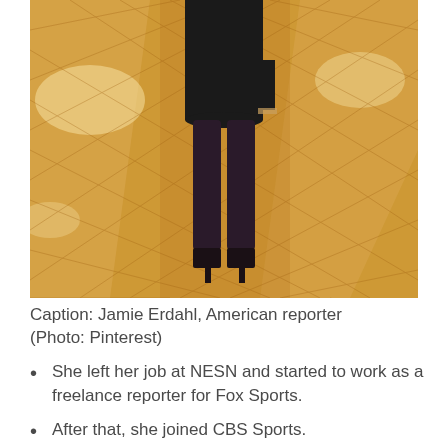[Figure (photo): A person wearing a black dress and dark tights/heels standing on a herringbone-patterned wooden floor. Only the lower body is visible.]
Caption: Jamie Erdahl, American reporter (Photo: Pinterest)
She left her job at NESN and started to work as a freelance reporter for Fox Sports.
After that, she joined CBS Sports.
Since then, she has been working on the